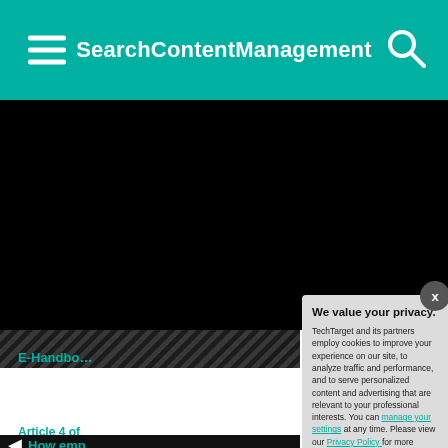SearchContentManagement
[Figure (screenshot): Black content area with video/image placeholder]
E-Handbook
Content sharpened demand
Article 4 of
How emp
We value your privacy. TechTarget and its partners employ cookies to improve your experience on our site, to analyze traffic and performance, and to serve personalized content and advertising that are relevant to your professional interests. You can manage your settings at any time. Please view our Privacy Policy for more information